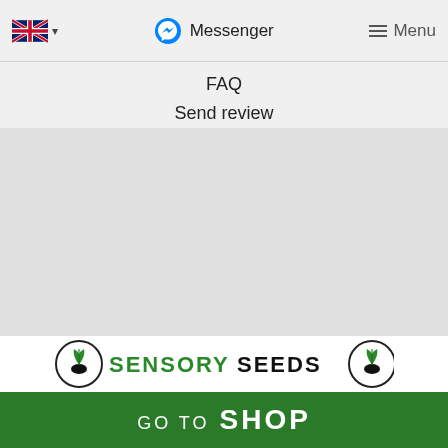🇬🇧 ▾   Messenger   Menu
FAQ
Send review
[Figure (logo): Sensory Seeds logo with circular plant emblems on each side]
GO TO  SHOP